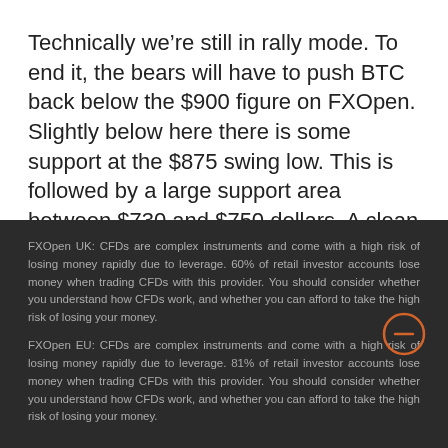Technically we're still in rally mode. To end it, the bears will have to push BTC back below the $900 figure on FXOpen. Slightly below here there is some support at the $875 swing low. This is followed by a large support area between $730 and $750 dollars. A clean break of this area could intensify
FXOpen UK: CFDs are complex instruments and come with a high risk of losing money rapidly due to leverage. 60% of retail investor accounts lose money when trading CFDs with this provider. You should consider whether you understand how CFDs work, and whether you can afford to take the high risk of losing your money. FXOpen EU: CFDs are complex instruments and come with a high risk of losing money rapidly due to leverage. 81% of retail investor accounts lose money when trading CFDs with this provider. You should consider whether you understand how CFDs work, and whether you can afford to take the high risk of losing your money.